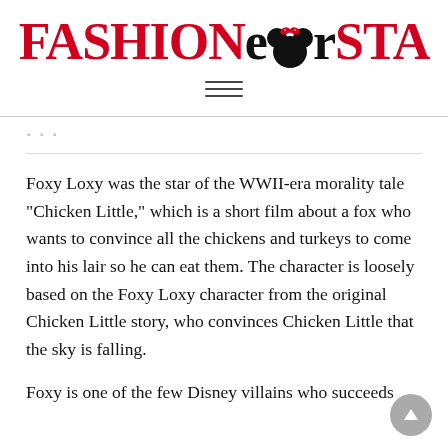FASHIONearSTA
Foxy Loxy was the star of the WWII-era morality tale “Chicken Little,” which is a short film about a fox who wants to convince all the chickens and turkeys to come into his lair so he can eat them. The character is loosely based on the Foxy Loxy character from the original Chicken Little story, who convinces Chicken Little that the sky is falling.
Foxy is one of the few Disney villains who succeeds